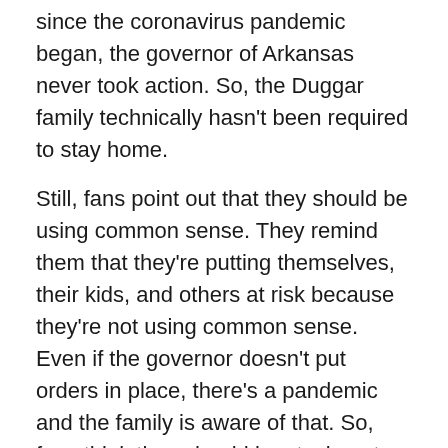since the coronavirus pandemic began, the governor of Arkansas never took action. So, the Duggar family technically hasn't been required to stay home.
Still, fans point out that they should be using common sense. They remind them that they're putting themselves, their kids, and others at risk because they're not using common sense. Even if the governor doesn't put orders in place, there's a pandemic and the family is aware of that. So, fans think they should be staying at home anyway. The Duggars can't get in trouble because there aren't any laws requiring them to stay home though.
Even though Arkansas was never under an official order, Jill seemed to be following the general guidelines to an extent. Maybe she's using the cues from other states to make her decisions.